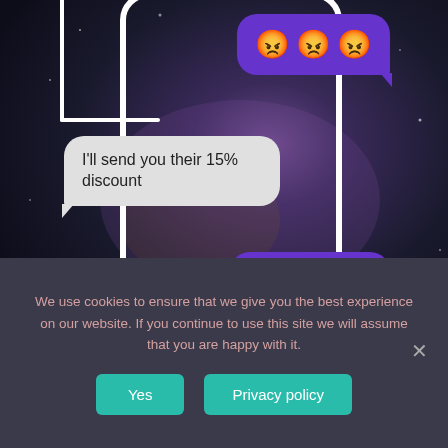[Figure (screenshot): Screenshot of a mobile messaging app with a space/galaxy background. Shows chat bubbles: one purple bubble with three angry red emoji faces, one gray bubble saying 'I'll send you their 15% discount', one purple bubble saying 'You're forgiven', and an ORDER NOW button with purple border on white background.]
We use cookies to ensure that we give you the best experience on our website. If you continue to use this site we will assume that you are happy with it.
Yes
Privacy policy